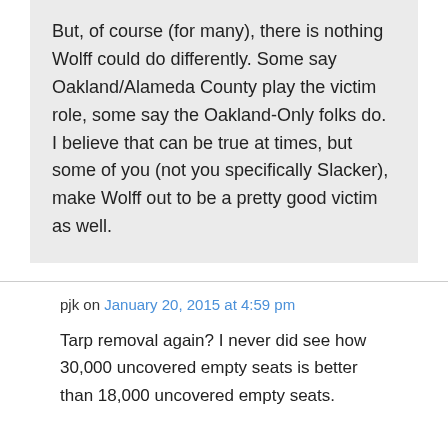But, of course (for many), there is nothing Wolff could do differently. Some say Oakland/Alameda County play the victim role, some say the Oakland-Only folks do. I believe that can be true at times, but some of you (not you specifically Slacker), make Wolff out to be a pretty good victim as well.
pjk on January 20, 2015 at 4:59 pm
Tarp removal again? I never did see how 30,000 uncovered empty seats is better than 18,000 uncovered empty seats.